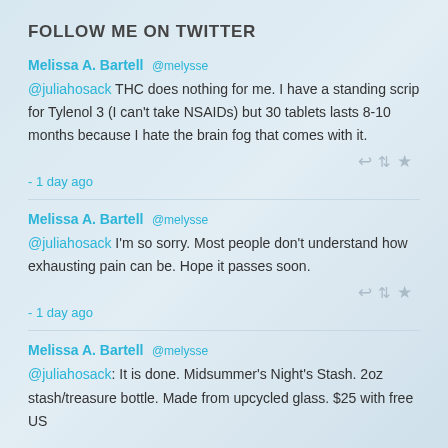FOLLOW ME ON TWITTER
Melissa A. Bartell @melysse
@juliahosack THC does nothing for me. I have a standing scrip for Tylenol 3 (I can't take NSAIDs) but 30 tablets lasts 8-10 months because I hate the brain fog that comes with it.
- 1 day ago
Melissa A. Bartell @melysse
@juliahosack I'm so sorry. Most people don't understand how exhausting pain can be. Hope it passes soon.
- 1 day ago
Melissa A. Bartell @melysse
@juliahosack: It is done. Midsummer's Night's Stash. 2oz stash/treasure bottle. Made from upcycled glass. $25 with free US